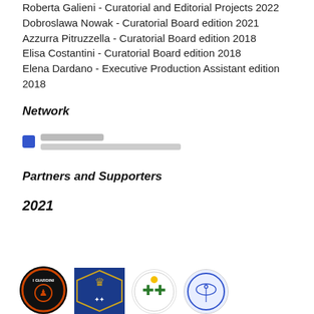Roberta Galieni - Curatorial and Editorial Projects 2022
Dobroslawa Nowak - Curatorial Board edition 2021
Azzurra Pitruzzella - Curatorial Board edition 2018
Elisa Costantini - Curatorial Board edition 2018
Elena Dardano - Executive Production Assistant edition 2018
Network
[Figure (other): Blurred/redacted social media or network profile link with icon]
Partners and Supporters
2021
[Figure (logo): Row of four logos: circular black/orange logo (I Giardini), square blue/gold heraldic crest, circular cross/green logo, circular blue/white logo]